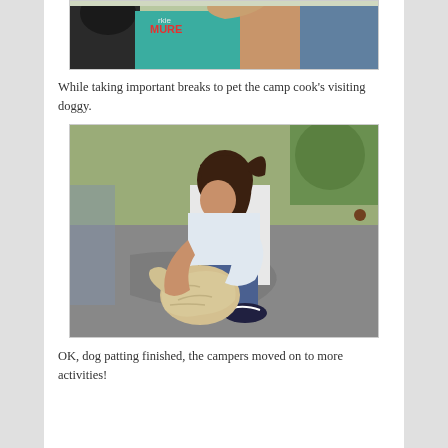[Figure (photo): Children gathered outdoors, one wearing a teal shirt with text, cropped view from waist up]
While taking important breaks to pet the camp cook's visiting doggy.
[Figure (photo): A young girl with dark hair hugging a small fluffy dog on a paved surface outdoors]
OK, dog patting finished, the campers moved on to more activities!